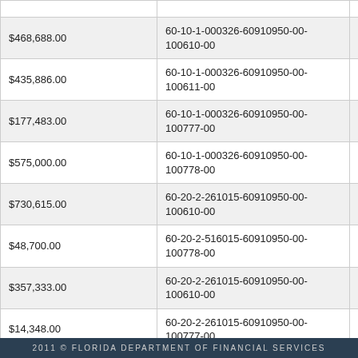| Amount | Code | Date |
| --- | --- | --- |
| $468,688.00 | 60-10-1-000326-60910950-00-100610-00 | 07/0... |
| $435,886.00 | 60-10-1-000326-60910950-00-100611-00 | 07/0... |
| $177,483.00 | 60-10-1-000326-60910950-00-100777-00 | 07/0... |
| $575,000.00 | 60-10-1-000326-60910950-00-100778-00 | 07/0... |
| $730,615.00 | 60-20-2-261015-60910950-00-100610-00 | 07/0... |
| $48,700.00 | 60-20-2-516015-60910950-00-100778-00 | 07/0... |
| $357,333.00 | 60-20-2-261015-60910950-00-100610-00 | 07/0... |
| $14,348.00 | 60-20-2-261015-60910950-00-100777-00 | 07/0... |
| $994,374.00 | 60-10-1-000326-60910950-00-100618-00 | 07/0... |
| $600,000.00 | 60-10-1-000326-60910950-00-100618-00 | 07/0... |
2011 © FLORIDA DEPARTMENT OF FINANCIAL SERVICES